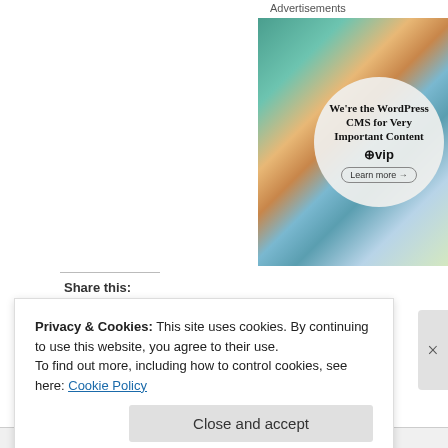Advertisements
[Figure (illustration): WordPress VIP advertisement showing colorful business cards/brand logos in background with a circular white overlay reading 'We're the WordPress CMS for Very Important Content' with WordPress VIP logo and 'Learn more →' button]
Share this:
Privacy & Cookies: This site uses cookies. By continuing to use this website, you agree to their use.
To find out more, including how to control cookies, see here: Cookie Policy
Close and accept